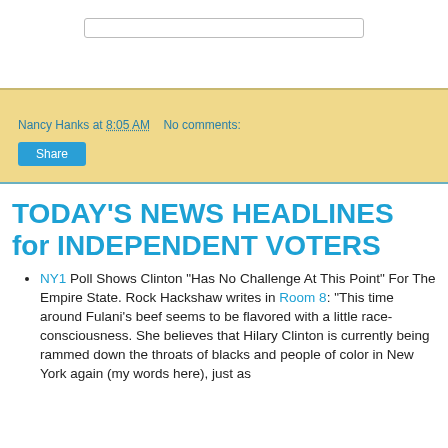[Figure (screenshot): Search bar input field at the top of the page]
Nancy Hanks at 8:05 AM   No comments:
Share
TODAY'S NEWS HEADLINES for INDEPENDENT VOTERS
NY1 Poll Shows Clinton "Has No Challenge At This Point" For The Empire State. Rock Hackshaw writes in Room 8: "This time around Fulani's beef seems to be flavored with a little race-consciousness. She believes that Hilary Clinton is currently being rammed down the throats of blacks and people of color in New York again (my words here), just as